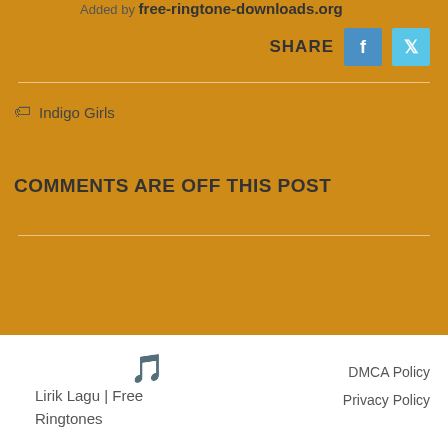Added by free-ringtone-downloads.org
SHARE
Indigo Girls
COMMENTS ARE OFF THIS POST
Lirik Lagu | Free Ringtones   DMCA Policy   Privacy Policy